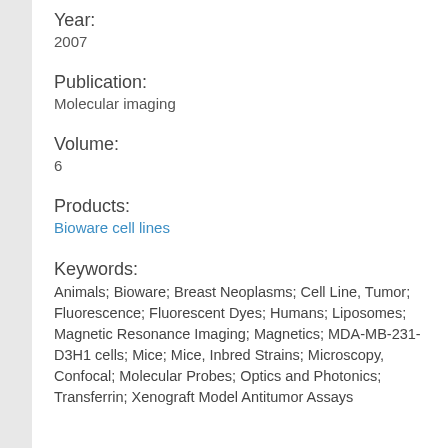Year:
2007
Publication:
Molecular imaging
Volume:
6
Products:
Bioware cell lines
Keywords:
Animals; Bioware; Breast Neoplasms; Cell Line, Tumor; Fluorescence; Fluorescent Dyes; Humans; Liposomes; Magnetic Resonance Imaging; Magnetics; MDA-MB-231-D3H1 cells; Mice; Mice, Inbred Strains; Microscopy, Confocal; Molecular Probes; Optics and Photonics; Transferrin; Xenograft Model Antitumor Assays